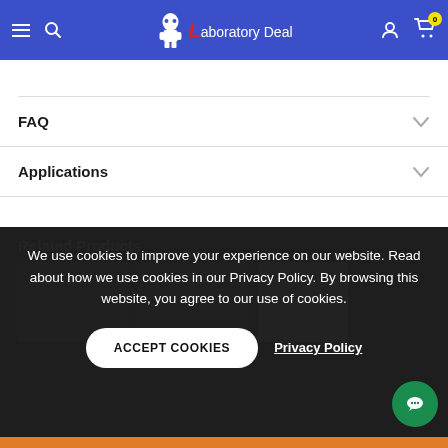Laboratory Deal
FAQ
Applications
Related Products
We use cookies to improve your experience on our website. Read about how we use cookies in our Privacy Policy. By browsing this website, you agree to our use of cookies.
ACCEPT COOKIES
Privacy Policy
Add To Cart